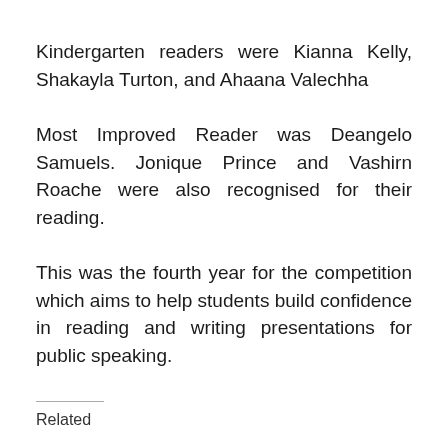Kindergarten readers were Kianna Kelly, Shakayla Turton, and Ahaana Valechha
Most Improved Reader was Deangelo Samuels. Jonique Prince and Vashirn Roache were also recognised for their reading.
This was the fourth year for the competition which aims to help students build confidence in reading and writing presentations for public speaking.
Related